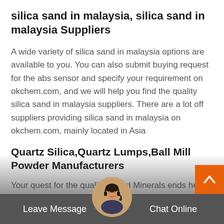silica sand in malaysia, silica sand in malaysia Suppliers
A wide variety of silica sand in malaysia options are available to you. You can also submit buying request for the abs sensor and specify your requirement on okchem.com, and we will help you find the quality silica sand in malaysia suppliers. There are a lot off suppliers providing silica sand in malaysia on okchem.com, mainly located in Asia
Quartz Silica,Quartz Lumps,Ball Mill Powder Manufacturers
Your quest for the quality bound Minerals ends here with us. Classic Minerals is one of the largest Manufacturers Suppliers and Exporters of a wide array of Minerals in Gujarat. We are offering a wide collection of Minerals inclusive of Silica Quartz, River Sand, Ball Mill Powder,
Leave Message   Chat Online